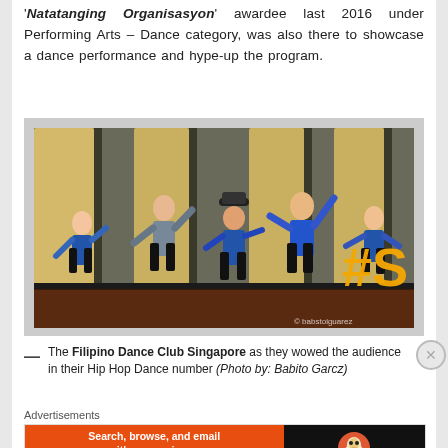'’Natatanging Organisasyon’ awardee last 2016 under Performing Arts – Dance category, was also there to showcase a dance performance and hype-up the program.
[Figure (photo): Five dancers in blue outfits performing a Hip Hop Dance number on a stage with yellow curtains in the background and a large orange hashtag '#S' visible on the right side. Watermark reads '© babstoiguarez'.]
— The Filipino Dance Club Singapore as they wowed the audience in their Hip Hop Dance number (Photo by: Babito Garcz)
Advertisements
[Figure (screenshot): DuckDuckGo advertisement banner: 'Search, browse, and email with more privacy. All in One Free App' on orange background, with DuckDuckGo logo on black background.]